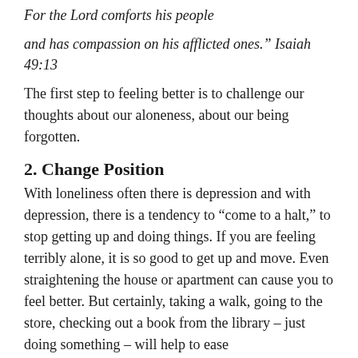For the Lord comforts his people
and has compassion on his afflicted ones." Isaiah 49:13
The first step to feeling better is to challenge our thoughts about our aloneness, about our being forgotten.
2. Change Position
With loneliness often there is depression and with depression, there is a tendency to “come to a halt,” to stop getting up and doing things. If you are feeling terribly alone, it is so good to get up and move. Even straightening the house or apartment can cause you to feel better. But certainly, taking a walk, going to the store, checking out a book from the library – just doing something – will help to ease